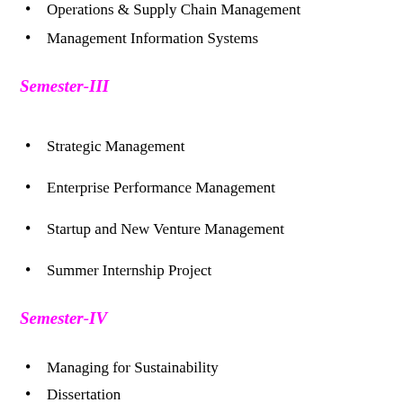Operations & Supply Chain Management
Management Information Systems
Semester-III
Strategic Management
Enterprise Performance Management
Startup and New Venture Management
Summer Internship Project
Semester-IV
Managing for Sustainability
Dissertation